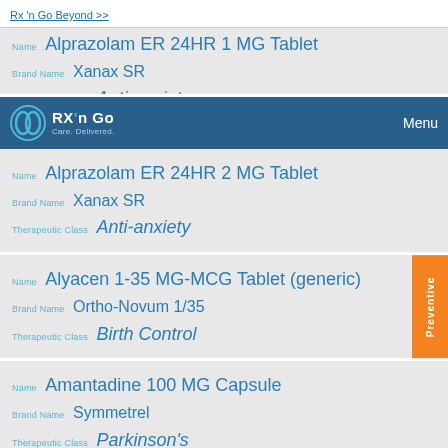Rx 'n Go Beyond >>
[Figure (logo): Rx 'n Go logo with care delivered tagline and nav menu]
Name: Alprazolam ER 24HR 1 MG Tablet | Brand Name: Xanax SR | Therapeutic Class: Anti-anxiety (partially visible, cropped at top)
Name: Alprazolam ER 24HR 2 MG Tablet | Brand Name: Xanax SR | Therapeutic Class: Anti-anxiety
Name: Alyacen 1-35 MG-MCG Tablet (generic) | Brand Name: Ortho-Novum 1/35 | Therapeutic Class: Birth Control | Badge: Preventive
Name: Amantadine 100 MG Capsule | Brand Name: Symmetrel | Therapeutic Class: Parkinson's
(partially visible bottom card)